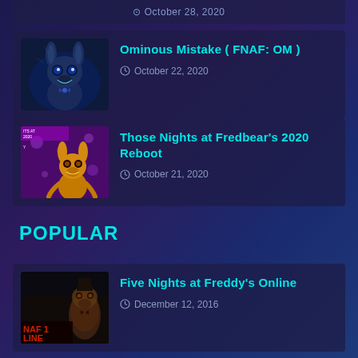October 28, 2020
Ominous Mistake ( FNAF: OM )
October 22, 2020
Those Nights at Fredbear's 2020 Reboot
October 21, 2020
POPULAR
Five Nights at Freddy's Online
December 12, 2016